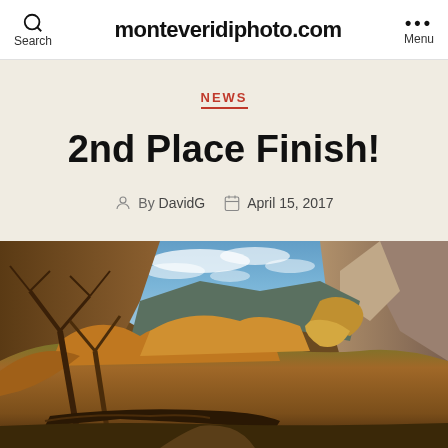Search | monteveridiphoto.com | Menu
NEWS
2nd Place Finish!
By DavidG  April 15, 2017
[Figure (photo): Landscape photo of a canyon or gorge with autumn foliage, bare trees, fallen logs, rocky cliffs on both sides, and a blue sky with clouds visible above the canyon opening]